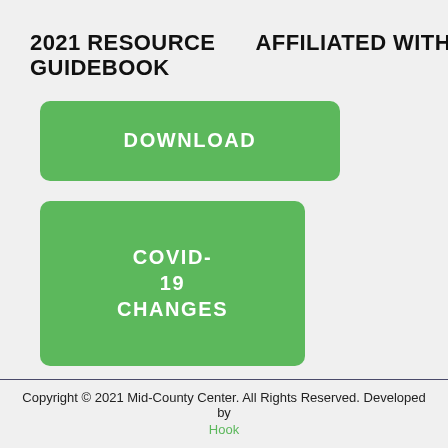2021 RESOURCE GUIDEBOOK
AFFILIATED WITH
[Figure (other): Green download button labeled DOWNLOAD]
[Figure (other): Green button labeled COVID-19 CHANGES]
Copyright © 2021 Mid-County Center. All Rights Reserved. Developed by Hook